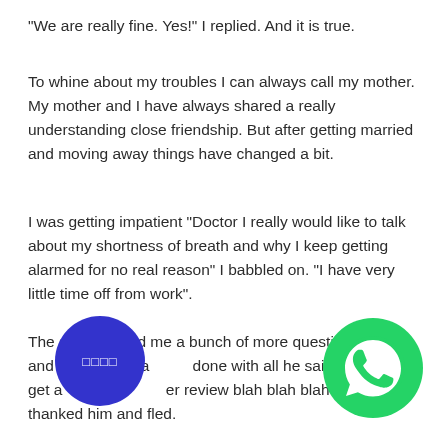"We are really fine. Yes!" I replied. And it is true.
To whine about my troubles I can always call my mother. My mother and I have always shared a really understanding close friendship. But after getting married and moving away things have changed a bit.
I was getting impatient "Doctor I really would like to talk about my shortness of breath and why I keep getting alarmed for no real reason" I babbled on. "I have very little time off from work".
The shrink asked me a bunch of more questions and when was finally done with all he said was I would get a letter after my review blah blah blah so I just thanked him and fled.